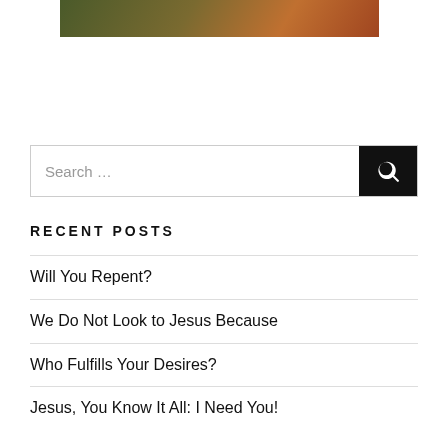[Figure (photo): Partial image with dark greenish-brown and orange tones, cropped at top of page]
Search …
RECENT POSTS
Will You Repent?
We Do Not Look to Jesus Because
Who Fulfills Your Desires?
Jesus, You Know It All: I Need You!